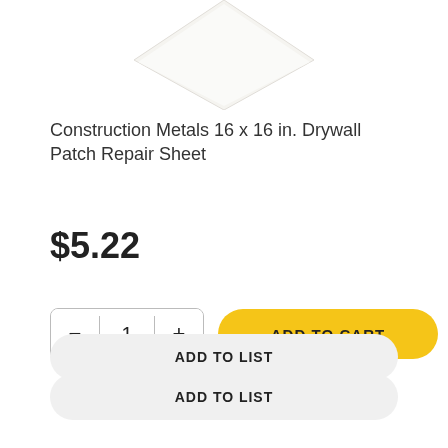[Figure (photo): Partial view of a white drywall patch repair sheet product image, showing bottom portion of the product against a white background]
Construction Metals 16 x 16 in. Drywall Patch Repair Sheet
$5.22
- 1 + ADD TO CART
ADD TO LIST
ADD TO QUOTE
SUBSCRIBE